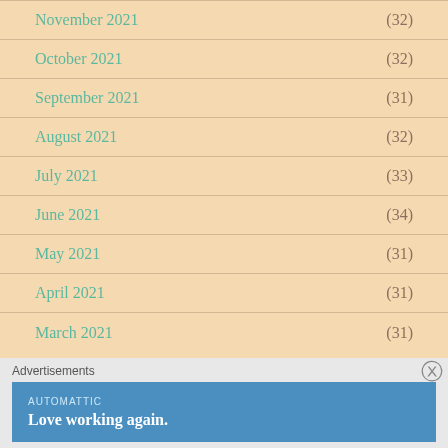November 2021 (32)
October 2021 (32)
September 2021 (31)
August 2021 (32)
July 2021 (33)
June 2021 (34)
May 2021 (31)
April 2021 (31)
March 2021 (31)
Advertisements
[Figure (other): Automattic advertisement banner — 'Love working again.']